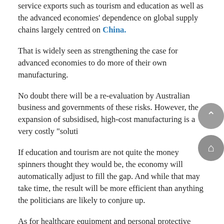service exports such as tourism and education as well as the advanced economies' dependence on global supply chains largely centred on China.
That is widely seen as strengthening the case for advanced economies to do more of their own manufacturing.
No doubt there will be a re-evaluation by Australian business and governments of these risks. However, the expansion of subsidised, high-cost manufacturing is a very costly "soluti…
If education and tourism are not quite the money spinners thought they would be, the economy will automatically adjust to fill the gap. And while that may take time, the result will be more efficient than anything the politicians are likely to conjure up.
As for healthcare equipment and personal protective equipment shortages, perhaps the more sensible solution is for governments to build and maintain adequate reserve supplies. The failure of governments to acquire adequate stockpiles well in advance of the crisis seems extraordinary given their own